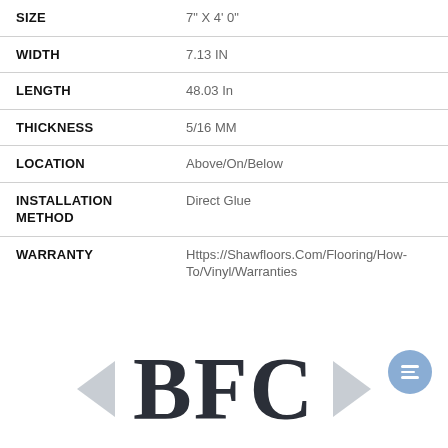| Attribute | Value |
| --- | --- |
| SIZE | 7" X 4' 0" |
| WIDTH | 7.13 IN |
| LENGTH | 48.03 In |
| THICKNESS | 5/16 MM |
| LOCATION | Above/On/Below |
| INSTALLATION METHOD | Direct Glue |
| WARRANTY | Https://Shawfloors.Com/Flooring/How-To/Vinyl/Warranties |
[Figure (logo): BFC logo with left and right arrow navigation icons, and a blue chat bubble icon in the bottom right]